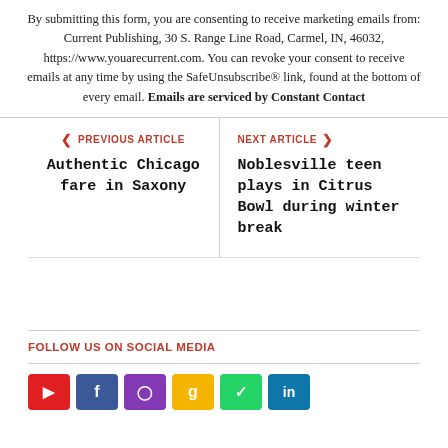By submitting this form, you are consenting to receive marketing emails from: Current Publishing, 30 S. Range Line Road, Carmel, IN, 46032, https://www.youarecurrent.com. You can revoke your consent to receive emails at any time by using the SafeUnsubscribe® link, found at the bottom of every email. Emails are serviced by Constant Contact
< PREVIOUS ARTICLE
Authentic Chicago fare in Saxony
NEXT ARTICLE >
Noblesville teen plays in Citrus Bowl during winter break
FOLLOW US ON SOCIAL MEDIA
[Figure (other): Row of six social media icon buttons: red (YouTube/RSS), blue (Facebook), purple (Instagram), yellow (Google), green (WhatsApp/Line), light blue (LinkedIn)]